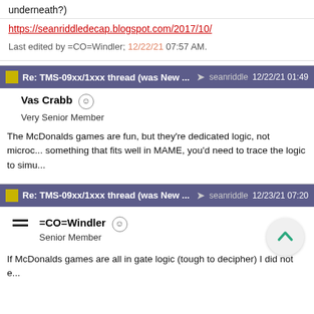underneath?)
https://seanriddledecap.blogspot.com/2017/10/
Last edited by =CO=Windler; 12/22/21 07:57 AM.
Re: TMS-09xx/1xxx thread (was New ... seanriddle 12/22/21 01:49
Vas Crabb  Very Senior Member
The McDonalds games are fun, but they're dedicated logic, not microd... something that fits well in MAME, you'd need to trace the logic to simu...
Re: TMS-09xx/1xxx thread (was New ... seanriddle 12/23/21 07:20
=CO=Windler  Senior Member
If McDonalds games are all in gate logic (tough to decipher) I did not e...